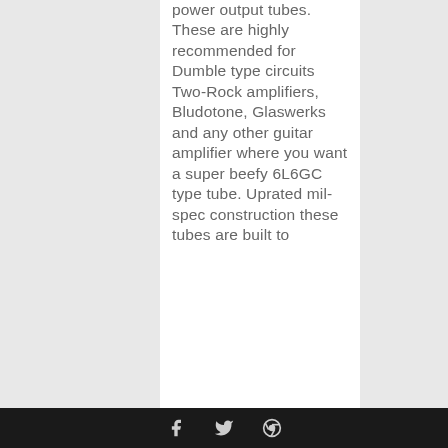power output tubes.  These are highly recommended for Dumble type circuits Two-Rock amplifiers, Bludotone, Glaswerks and any other guitar amplifier where you want a super beefy 6L6GC type tube. Uprated mil-spec construction these tubes are built to